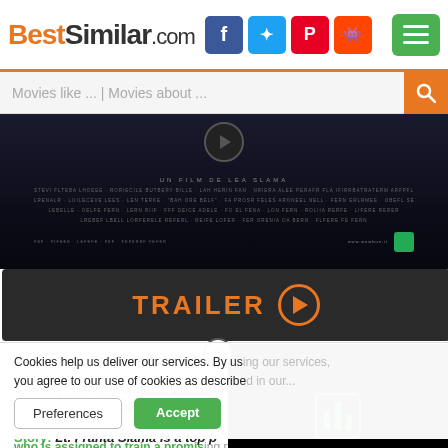BestSimilar.com
Movies like ... | Movies about ...
[Figure (photo): Dark movie banner/title card with film credits text on black background]
TRAILER ▶
Genre: War, Drama, Action, Romance
Country: Czech Republic, UK, Germany, Denmark, Italy, France, USA
Duration: 112 min.
Story: Lt. Franta Slama is a top p... who is assigned to train a promis... Initially, and they soon beco...
Cookies help us deliver our services. By us... you agree to our use of cookies as describe...
Preferences  Accept